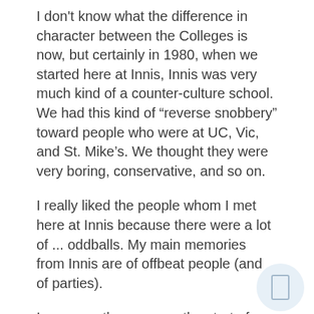I don't know what the difference in character between the Colleges is now, but certainly in 1980, when we started here at Innis, Innis was very much kind of a counter-culture school. We had this kind of “reverse snobbery” toward people who were at UC, Vic, and St. Mike’s. We thought they were very boring, conservative, and so on.
I really liked the people whom I met here at Innis because there were a lot of ... oddballs. My main memories from Innis are of offbeat people (and of parties).
In my era, there was ... the start of punk and new wave, at the end of the 70s/early 80s. That was the crowd then.